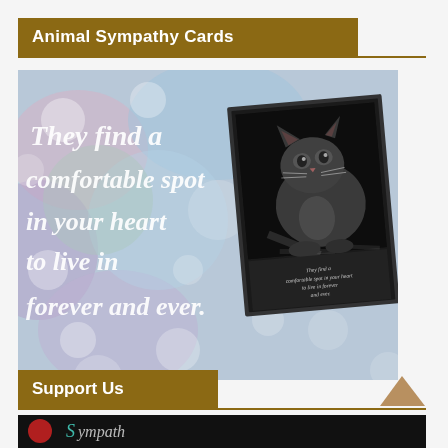Animal Sympathy Cards
[Figure (photo): Animal sympathy greeting card showing a cat photo on dark background card, overlaid on a colorful bokeh background with white script text reading 'They find a comfortable spot in your heart to live in forever and ever.']
Support Us
[Figure (logo): Bottom banner with dark background and partial logo/text visible]